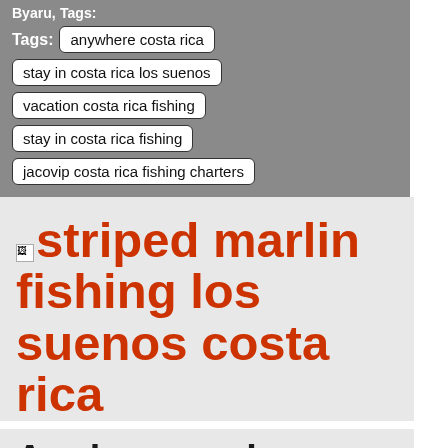Byaru, Tags:
anywhere costa rica
stay in costa rica los suenos
vacation costa rica fishing
stay in costa rica fishing
jacovip costa rica fishing charters
striped marlin fishing los suenos costa rica
Anglers craving deep-